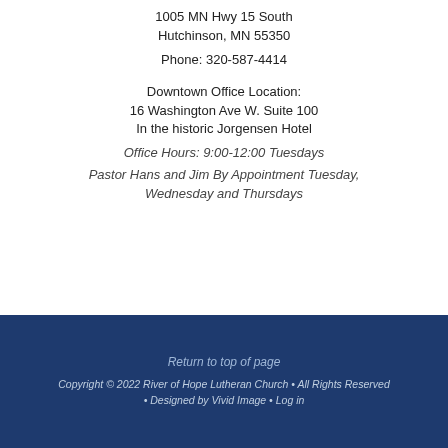1005 MN Hwy 15 South
Hutchinson, MN 55350
Phone: 320-587-4414
Downtown Office Location:
16 Washington Ave W. Suite 100
In the historic Jorgensen Hotel
Office Hours: 9:00-12:00 Tuesdays
Pastor Hans and Jim By Appointment Tuesday, Wednesday and Thursdays
Return to top of page
Copyright © 2022 River of Hope Lutheran Church • All Rights Reserved • Designed by Vivid Image • Log in